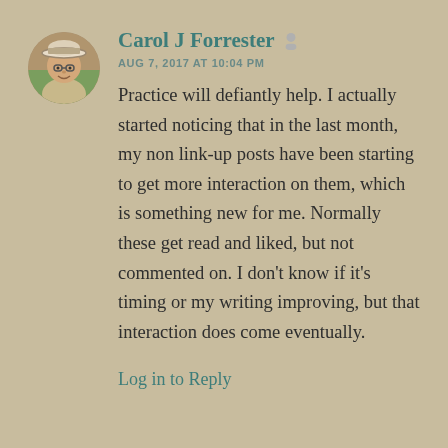[Figure (photo): Circular profile photo of Carol J Forrester wearing a sun hat with glasses, outdoors]
Carol J Forrester
AUG 7, 2017 AT 10:04 PM
Practice will defiantly help. I actually started noticing that in the last month, my non link-up posts have been starting to get more interaction on them, which is something new for me. Normally these get read and liked, but not commented on. I don't know if it's timing or my writing improving, but that interaction does come eventually.
Log in to Reply